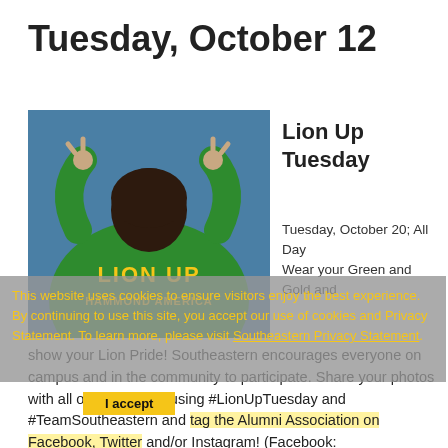Tuesday, October 12
[Figure (photo): Person wearing green hoodie with 'LION UP HAMMOND AMERICA' text, making lion claw hand gestures, viewed from behind]
Lion Up Tuesday
Tuesday, October 20; All Day
Wear your Green and Gold and show your Lion Pride! Southeastern encourages everyone on campus and in the community to participate. Share your photos with all of Lion Nation using #LionUpTuesday and #TeamSoutheastern and tag the Alumni Association on Facebook, Twitter and/or Instagram! (Facebook: @SoutheasternUniversityAlumni, Twitter: @SLU_Alum,
This website uses cookies to ensure visitors enjoy the best experience. By continuing to use this site, you accept our use of cookies and Privacy Statement. To learn more, please visit Southeastern Privacy Statement.